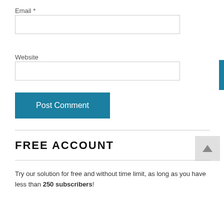Email *
Website
Post Comment
FREE ACCOUNT
Try our solution for free and without time limit, as long as you have less than 250 subscribers!